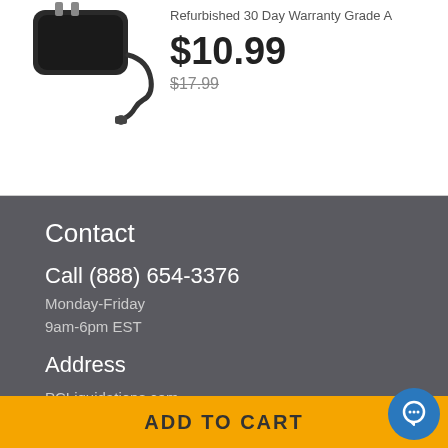[Figure (photo): Product photo of a power adapter/charger with cable and connector tip visible]
Refurbished 30 Day Warranty Grade A
$10.99
$17.99
Contact
Call (888) 654-3376
Monday-Friday
9am-6pm EST
Address
PCLiquidations.com
123 Stockton St.
Jacksonville, FL 32204
ADD TO CART